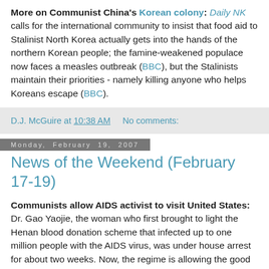More on Communist China's Korean colony: Daily NK calls for the international community to insist that food aid to Stalinist North Korea actually gets into the hands of the northern Korean people; the famine-weakened populace now faces a measles outbreak (BBC), but the Stalinists maintain their priorities - namely killing anyone who helps Koreans escape (BBC).
D.J. McGuire at 10:38 AM   No comments:
Monday, February 19, 2007
News of the Weekend (February 17-19)
Communists allow AIDS activist to visit United States: Dr. Gao Yaojie, the woman who first brought to light the Henan blood donation scheme that infected up to one million people with the AIDS virus, was under house arrest for about two weeks. Now, the regime is allowing the good doctor "to visit the US...